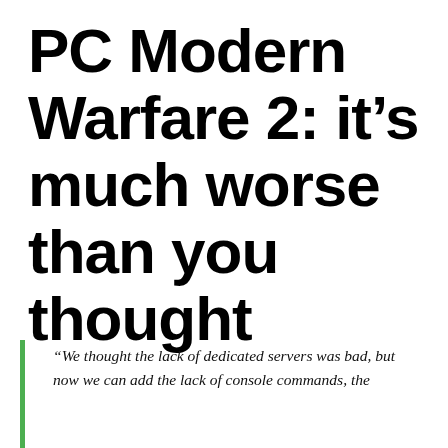PC Modern Warfare 2: it's much worse than you thought
“We thought the lack of dedicated servers was bad, but now we can add the lack of console commands, the